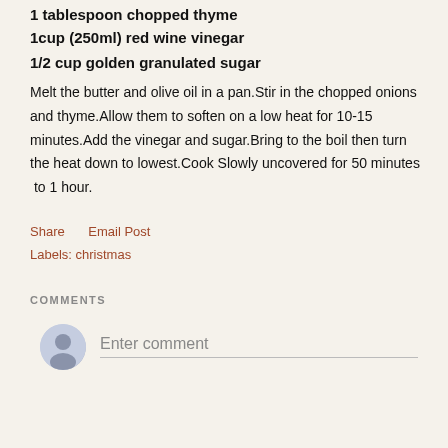1 tablespoon chopped thyme
1cup (250ml) red wine vinegar
1/2 cup golden granulated sugar
Melt the butter and olive oil in a pan.Stir in the chopped onions and thyme.Allow them to soften on a low heat for 10-15 minutes.Add the vinegar and sugar.Bring to the boil then turn the heat down to lowest.Cook Slowly uncovered for 50 minutes  to 1 hour.
Share    Email Post
Labels: christmas
COMMENTS
Enter comment